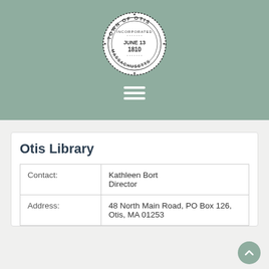[Figure (logo): Town of Otis, Massachusetts seal — circular stamp reading 'TOWN OF OTIS · INCORPORATED · JUNE 13 1810 · MASSACHUSETTS ·']
[Figure (other): Hamburger menu icon (three horizontal white lines) on sage green background]
Otis Library
| Contact: | Kathleen Bort
Director |
| Address: | 48 North Main Road, PO Box 126, Otis, MA 01253 |